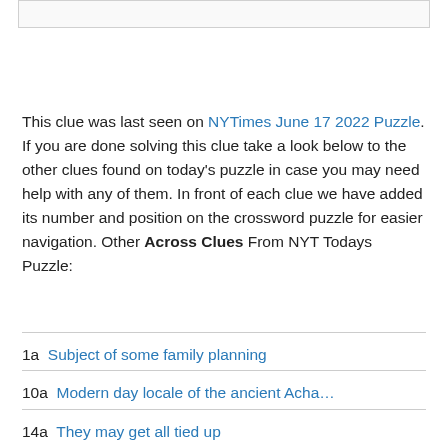[Figure (other): Gray bordered box at top of page]
This clue was last seen on NYTimes June 17 2022 Puzzle. If you are done solving this clue take a look below to the other clues found on today's puzzle in case you may need help with any of them. In front of each clue we have added its number and position on the crossword puzzle for easier navigation. Other Across Clues From NYT Todays Puzzle:
1a Subject of some family planning
10a Modern day locale of the ancient Acha...
14a They may get all tied up